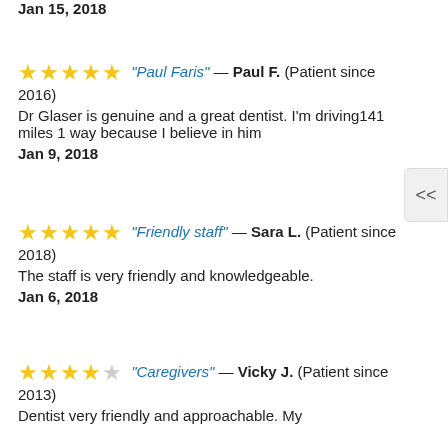Jan 15, 2018
"Paul Faris" — Paul F. (Patient since 2016)
Dr Glaser is genuine and a great dentist. I'm driving141 miles 1 way because I believe in him
Jan 9, 2018
"Friendly staff" — Sara L. (Patient since 2018)
The staff is very friendly and knowledgeable.
Jan 6, 2018
"Caregivers" — Vicky J. (Patient since 2013)
Dentist very friendly and approachable. My